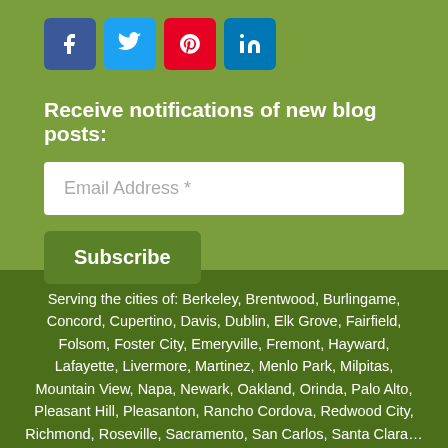[Figure (infographic): Social media share icons: Facebook (blue), Twitter (light blue), Pinterest (red), LinkedIn (blue)]
Receive notifications of new blog posts:
Email Address *
Subscribe
Serving the cities of: Berkeley, Brentwood, Burlingame, Concord, Cupertino, Davis, Dublin, Elk Grove, Fairfield, Folsom, Foster City, Emeryville, Fremont, Hayward, Lafayette, Livermore, Martinez, Menlo Park, Milpitas, Mountain View, Napa, Newark, Oakland, Orinda, Palo Alto, Pleasant Hill, Pleasanton, Rancho Cordova, Redwood City, Richmond, Roseville, Sacramento, San Carlos, Santa Clara…